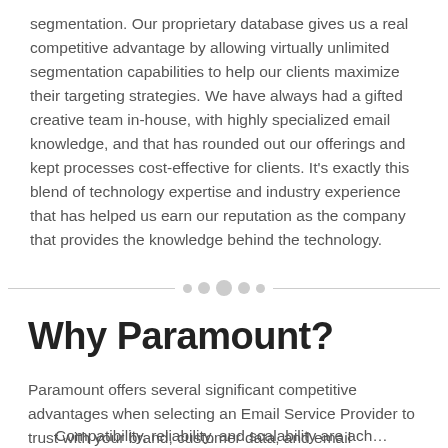segmentation. Our proprietary database gives us a real competitive advantage by allowing virtually unlimited segmentation capabilities to help our clients maximize their targeting strategies. We have always had a gifted creative team in-house, with highly specialized email knowledge, and that has rounded out our offerings and kept processes cost-effective for clients. It's exactly this blend of technology expertise and industry experience that has helped us earn our reputation as the company that provides the knowledge behind the technology.
[Figure (other): Decorative horizontal divider with five circles of varying sizes in the center, flanked by horizontal lines on each side.]
Why Paramount?
Paramount offers several significant competitive advantages when selecting an Email Service Provider to trust with your brand, customer data, and email marketing dollars:
Compatibility, reliability, and scalability are ach...